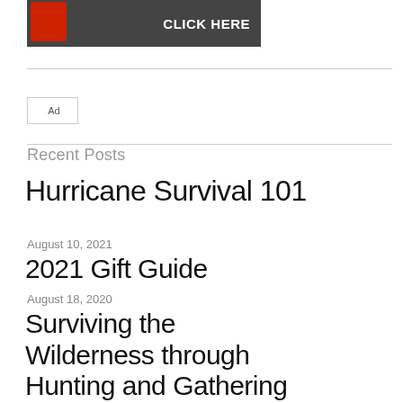[Figure (screenshot): Advertisement banner image showing jumper cables/car battery tool with text CLICK HERE on dark background]
[Figure (other): Broken/unloaded ad image placeholder labeled Ad]
Recent Posts
Hurricane Survival 101
August 10, 2021
2021 Gift Guide
August 18, 2020
Surviving the Wilderness through Hunting and Gathering